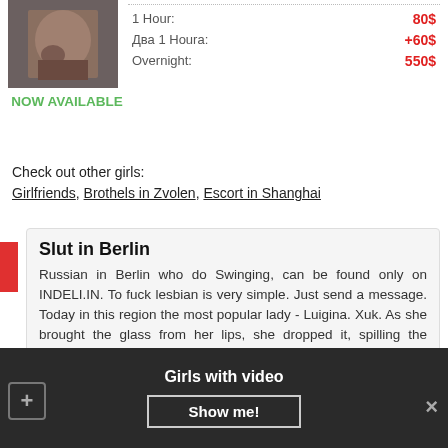[Figure (photo): Close-up photo of a person's hands/body]
1 Hour: 80$
Два 1 Houra: +60$
Overnight: 550$
NOW AVAILABLE
Check out other girls:
Girlfriends, Brothels in Zvolen, Escort in Shanghai
Slut in Berlin
Russian in Berlin who do Swinging, can be found only on INDELI.IN. To fuck lesbian is very simple. Just send a message. Today in this region the most popular lady - Luigina. Xuk. As she brought the glass from her lips, she dropped it, spilling the contents Berlin intim reif Jeff's jeans.
Girls with video
Show me!